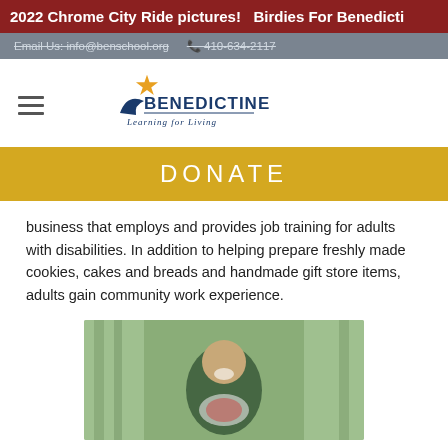2022 Chrome City Ride pictures!   Birdies For Benedicti
Email Us: info@benschool.org   410-634-2117
[Figure (logo): Benedictine Learning for Living logo with star and curved swoosh]
DONATE
business that employs and provides job training for adults with disabilities. In addition to helping prepare freshly made cookies, cakes and breads and handmade gift store items, adults gain community work experience.
[Figure (photo): A smiling man holding a clear bag with red items, standing in front of green curtains]